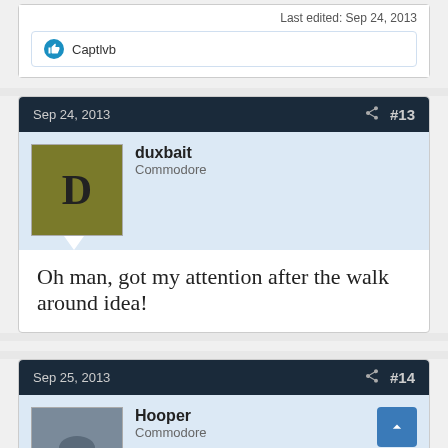Last edited: Sep 24, 2013
Captivb
Sep 24, 2013  #13
duxbait
Commodore
Oh man, got my attention after the walk around idea!
Sep 25, 2013  #14
Hooper
Commodore